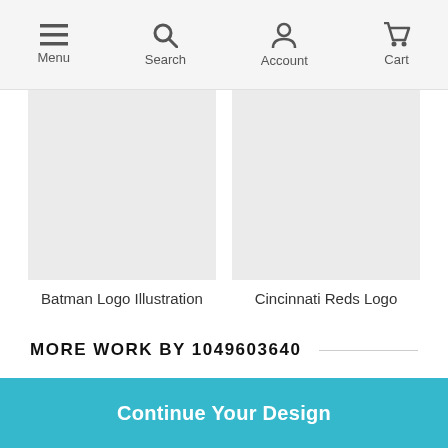Menu | Search | Account | Cart
[Figure (other): Gray placeholder image for Batman Logo Illustration product]
Batman Logo Illustration
[Figure (other): Gray placeholder image for Cincinnati Reds Logo product]
Cincinnati Reds Logo
MORE WORK BY 1049603640
[Figure (other): Gray placeholder image - more work item 1]
[Figure (other): Gray placeholder image - more work item 2]
Continue Your Design